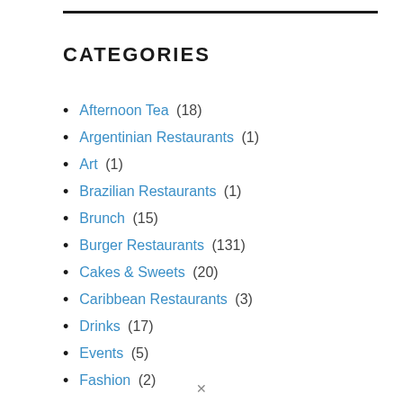CATEGORIES
Afternoon Tea (18)
Argentinian Restaurants (1)
Art (1)
Brazilian Restaurants (1)
Brunch (15)
Burger Restaurants (131)
Cakes & Sweets (20)
Caribbean Restaurants (3)
Drinks (17)
Events (5)
Fashion (2)